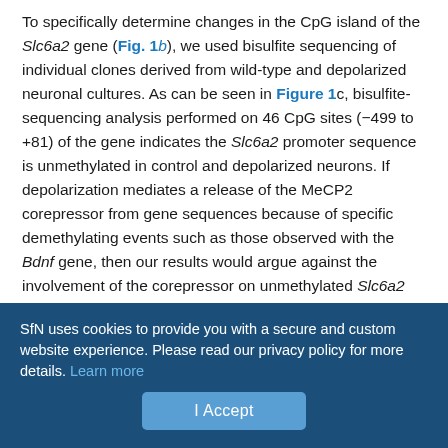To specifically determine changes in the CpG island of the Slc6a2 gene (Fig. 1b), we used bisulfite sequencing of individual clones derived from wild-type and depolarized neuronal cultures. As can be seen in Figure 1c, bisulfite-sequencing analysis performed on 46 CpG sites (−499 to +81) of the gene indicates the Slc6a2 promoter sequence is unmethylated in control and depolarized neurons. If depolarization mediates a release of the MeCP2 corepressor from gene sequences because of specific demethylating events such as those observed with the Bdnf gene, then our results would argue against the involvement of the corepressor on unmethylated Slc6a2 sequences. The correspondence of neuronal depolarization alleviating the suppression of Slc6a2 transcription was also strongly correlated with Bdnf gene activity; yet, demethylation could not
SfN uses cookies to provide you with a secure and custom website experience. Please read our privacy policy for more details. Learn more
I Accept